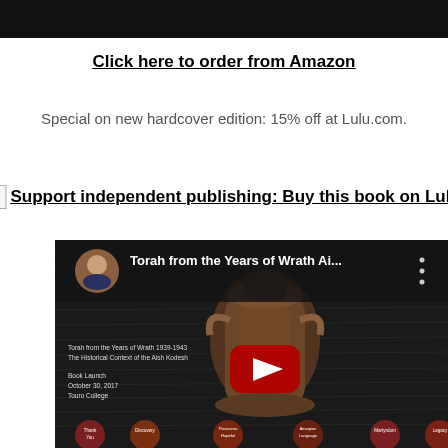[Figure (other): Black top bar/banner]
Click here to order from Amazon
Special on new hardcover edition: 15% off at Lulu.com.
Support independent publishing: Buy this book on Lulu.
[Figure (screenshot): YouTube video thumbnail for 'Torah from the Years of Wrath Ai...' — Book Launch October 30, 2017, Touro College, showing a rusty milk can over handwritten text background, with YouTube play button overlay, and circular chapter icons at bottom: Thank You, Discovery, Piaseczno Hopeful, Aesopian Language, Martyrdom, Legacy]